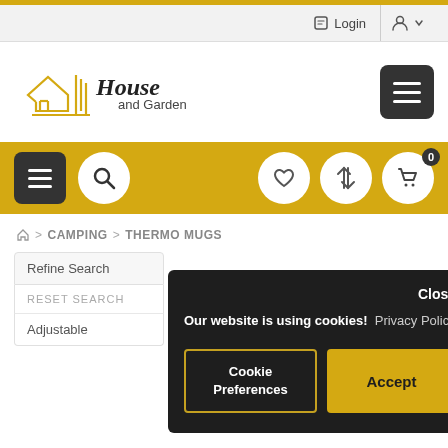Login | Account
[Figure (logo): House and Garden logo with house outline and vertical lines, with hamburger menu icon in top right]
[Figure (infographic): Gold navigation bar with hamburger menu, search icon, heart/wishlist, compare, and shopping cart (0 items) icons]
🏠 > CAMPING > THERMO MUGS
Refine Search
Adjustable
[Figure (screenshot): Cookie consent overlay on dark background. Text: Our website is using cookies! Privacy Policy. Buttons: Cookie Preferences, Accept]